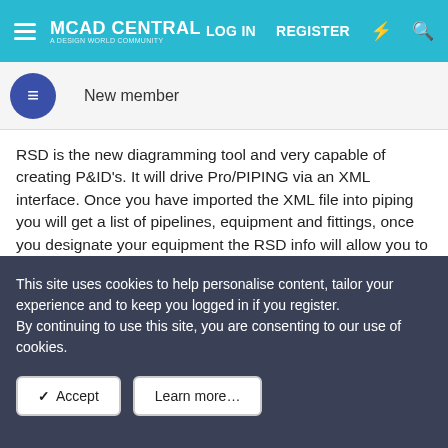MCAD CENTRAL — LOG IN   REGISTER
New member
RSD is the new diagramming tool and very capable of creating P&ID's. It will drive Pro/PIPING via an XML interface. Once you have imported the XML file into piping you will get a list of pipelines, equipment and fittings, once you designate your equipment the RSD info will allow you to select a pipe to route. Once you have selected the pipeline the equipment that you are routing from and to will highlight, all you have to do is define the path. Once you have defined the path the RSD xml info will then tell you what fittings should go in the pipeline. Very Very powerful.
This site uses cookies to help personalise content, tailor your experience and to keep you logged in if you register.
By continuing to use this site, you are consenting to our use of cookies.